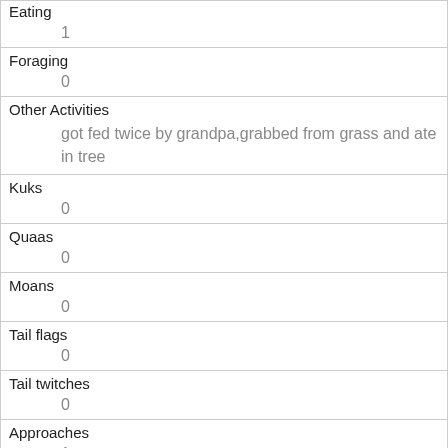| Eating | 1 |
| Foraging | 0 |
| Other Activities | got fed twice by grandpa,grabbed from grass and ate in tree |
| Kuks | 0 |
| Quaas | 0 |
| Moans | 0 |
| Tail flags | 0 |
| Tail twitches | 0 |
| Approaches | 1 |
| Indifferent | 1 |